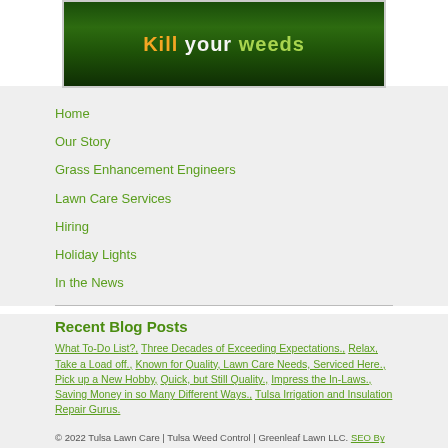[Figure (illustration): Banner image with dark green grass background and text reading 'Kill your weeds' with 'Kill' in orange, 'your' in white, and 'weeds' in yellow-green, framed with a thin border]
Home
Our Story
Grass Enhancement Engineers
Lawn Care Services
Hiring
Holiday Lights
In the News
Recent Blog Posts
What To-Do List?, Three Decades of Exceeding Expectations., Relax, Take a Load off., Known for Quality, Lawn Care Needs, Serviced Here., Pick up a New Hobby, Quick, but Still Quality., Impress the In-Laws., Saving Money in so Many Different Ways., Tulsa Irrigation and Insulation Repair Gurus.
© 2022 Tulsa Lawn Care | Tulsa Weed Control | Greenleaf Lawn LLC. SEO By U-Thrive Marketing All rights reserved.